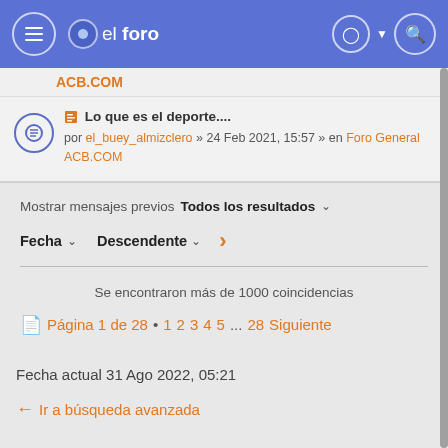el foro
ACB.COM
Lo que es el deporte.... por el_buey_almizclero » 24 Feb 2021, 15:57 » en Foro General ACB.COM
Mostrar mensajes previos  Todos los resultados ∨
Fecha ∨  Descendente ∨  >
Se encontraron más de 1000 coincidencias
Página 1 de 28 • 1 2 3 4 5 ... 28 Siguiente
Fecha actual 31 Ago 2022, 05:21
← Ir a búsqueda avanzada